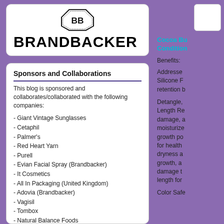[Figure (logo): BrandBacker logo with octagonal seal/stamp emblem above the bold wordmark BRANDBACKER]
Sponsors and Collaborations
This blog is sponsored and collaborates/collaborated with the following companies:
- Giant Vintage Sunglasses
- Cetaphil
- Palmer's
- Red Heart Yarn
- Purell
- Evian Facial Spray (Brandbacker)
- It Cosmetics
- All In Packaging (United Kingdom)
- Adovia (Brandbacker)
- Vagisil
- Tombox
- Natural Balance Foods
- Vaseline
- Thicker Fuller Hair
- Soft & Dri
- La Bella
[Figure (other): Small white box in top right corner, partial view]
Cocoa Bu Condition
Benefits:
Addresse Silicone F retention b
Detangle, Length Re damage, a moisturize growth po for health dryness a growth, a damage t length for
Color Safe